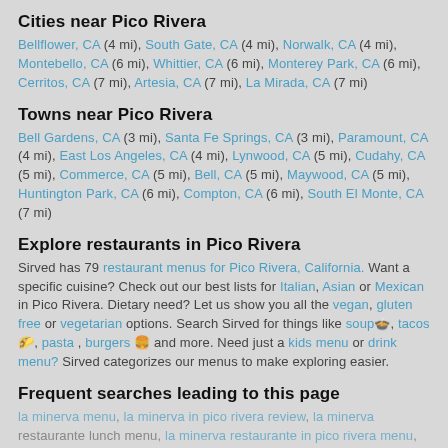Cities near Pico Rivera
Bellflower, CA (4 mi), South Gate, CA (4 mi), Norwalk, CA (4 mi), Montebello, CA (6 mi), Whittier, CA (6 mi), Monterey Park, CA (6 mi), Cerritos, CA (7 mi), Artesia, CA (7 mi), La Mirada, CA (7 mi)
Towns near Pico Rivera
Bell Gardens, CA (3 mi), Santa Fe Springs, CA (3 mi), Paramount, CA (4 mi), East Los Angeles, CA (4 mi), Lynwood, CA (5 mi), Cudahy, CA (5 mi), Commerce, CA (5 mi), Bell, CA (5 mi), Maywood, CA (5 mi), Huntington Park, CA (6 mi), Compton, CA (6 mi), South El Monte, CA (7 mi)
Explore restaurants in Pico Rivera
Sirved has 79 restaurant menus for Pico Rivera, California. Want a specific cuisine? Check out our best lists for Italian, Asian or Mexican in Pico Rivera. Dietary need? Let us show you all the vegan, gluten free or vegetarian options. Search Sirved for things like soup🍲, tacos🌮, pasta , burgers 🍔 and more. Need just a kids menu or drink menu? Sirved categorizes our menus to make exploring easier.
Frequent searches leading to this page
la minerva menu, la minerva in pico rivera review, la minerva restaurante lunch menu, la minerva restaurante in pico rivera menu, la minerva food photos, la minerva restaurante in pico rivera